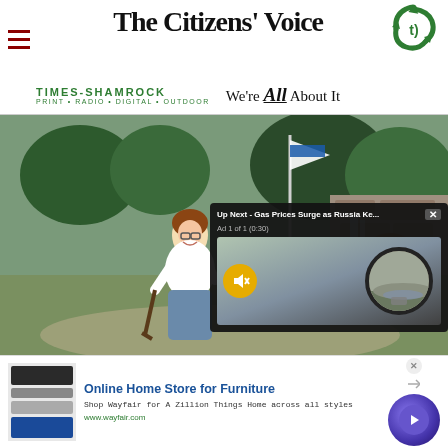The Citizens' Voice
TIMES-SHAMROCK
PRINT • RADIO • DIGITAL • OUTDOOR
We're All About It
[Figure (photo): Woman smiling and swinging a golf club at a mini golf course with stone waterfall background, with a video overlay showing 'Up Next - Gas Prices Surge as Russia Ke...' with Ad 1 of 1 (0:30) label and mute button]
[Figure (screenshot): Advertisement banner for Wayfair: Online Home Store for Furniture. 'Shop Wayfair for A Zillion Things Home across all styles. www.wayfair.com']